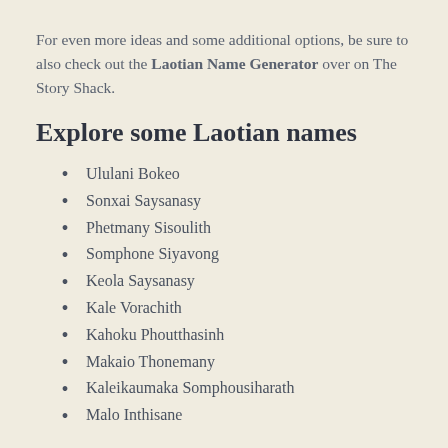For even more ideas and some additional options, be sure to also check out the Laotian Name Generator over on The Story Shack.
Explore some Laotian names
Ululani Bokeo
Sonxai Saysanasy
Phetmany Sisoulith
Somphone Siyavong
Keola Saysanasy
Kale Vorachith
Kahoku Phoutthasinh
Makaio Thonemany
Kaleikaumaka Somphousiharath
Malo Inthisane